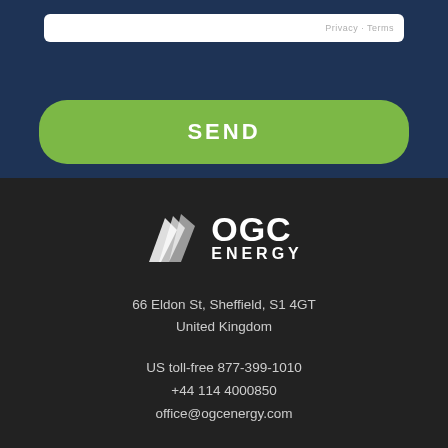[Figure (logo): OGC Energy logo with flame/leaf icon and text OGC ENERGY in white on dark background]
66 Eldon St, Sheffield, S1 4GT
United Kingdom
US toll-free 877-399-1010
+44 114 4000850
office@ogcenergy.com